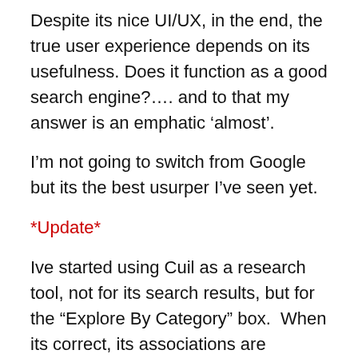Despite its nice UI/UX, in the end, the true user experience depends on its usefulness. Does it function as a good search engine?…. and to that my answer is an emphatic ‘almost’.
I’m not going to switch from Google but its the best usurper I’ve seen yet.
*Update*
Ive started using Cuil as a research tool, not for its search results, but for the “Explore By Category” box.  When its correct, its associations are educational. Almost a Wikipedia entry generator.
Mostly its correct or humorous, sometimes both. eg. Mark Pesce is listed under “Psychedelic Advocates And Proponents” and “Psychedelic Researchers” the rest are